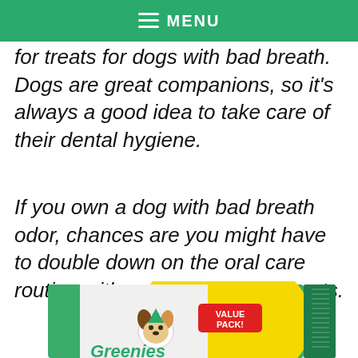☰ MENU
for treats for dogs with bad breath. Dogs are great companions, so it's always a good idea to take care of their dental hygiene.
If you own a dog with bad breath odor, chances are you might have to double down on the oral care routine with some dental dog treats.
[Figure (photo): Greenies dental dog treats value pack box with a dog illustration and 'VALUE PACK!' label in red/yellow, green and white packaging]